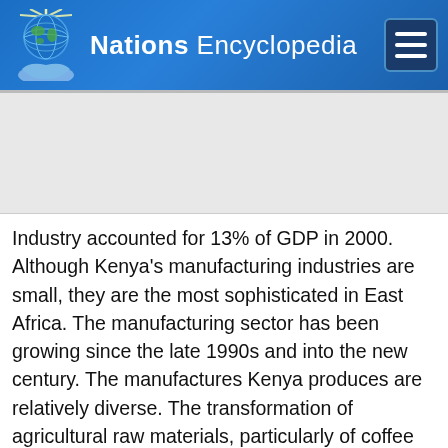Nations Encyclopedia
Industry accounted for 13% of GDP in 2000. Although Kenya's manufacturing industries are small, they are the most sophisticated in East Africa. The manufacturing sector has been growing since the late 1990s and into the new century. The manufactures Kenya produces are relatively diverse. The transformation of agricultural raw materials, particularly of coffee and tea, remains the principal industrial activity. Meat and fruit canning, wheat flour and cornmeal milling, and sugar refining are also important. Electronics production, vehicle assembly, publishing, and soda ash processing are all significant parts of the sector. Assembly of computer components began in 1987. Kenya also manufactures chemicals, textiles, ceramics, shoes, beer and soft drinks, cigarettes, soap, machinery, metal products, batteries